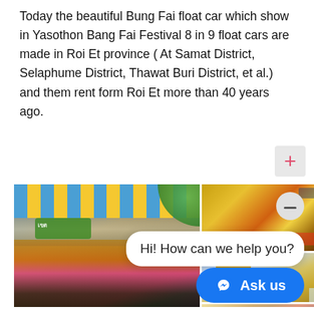Today the beautiful Bung Fai float car which show in Yasothon Bang Fai Festival 8 in 9 float cars are made in Roi Et province ( At Samat District, Selaphume District, Thawat Buri District, et al.) and them rent form Roi Et more than 40 years ago.
[Figure (photo): Left: crowd watching dancers in traditional Thai costumes with yellow and pink outfits at the Bung Fai festival, with a striped blue-yellow tent canopy above spectators. Top right: elaborate golden Thai float with mythological figures and decorations. Middle right: ornate golden Thai temple-style structure against blue sky. Bottom right: decorated Thai float or vehicle with golden ornaments.]
Hi! How can we help you?
Ask us